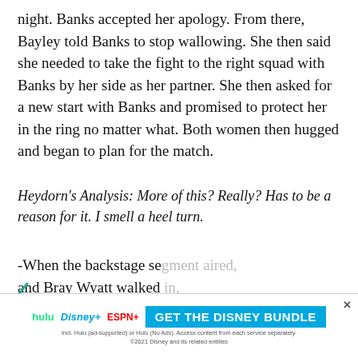night. Banks accepted her apology. From there, Bayley told Banks to stop wallowing. She then said she needed to take the fight to the right squad with Banks by her side as her partner. She then asked for a new start with Banks and promised to protect her in the ring no matter what. Both women then hugged and began to plan for the match.
Heydorn's Analysis: More of this? Really? Has to be a reason for it. I smell a heel turn.
[Figure (screenshot): Video popup overlay titled 'Why are pro wrestlers singing on the w...' from PWTORCH, showing a man in a black cap with a mute button and a wrestling ring backdrop.]
-When the backstage se[gment aired] and Bray Wyatt walked [in,] dissected the intricacie[s...]
-After the commercial b[reak, the] ring wit[h...] n the big scre[en ... Wy]att. Dallas then cut a promo like Bray Wyatt before kicking back
[Figure (screenshot): Advertisement banner for 'GET THE DISNEY BUNDLE' featuring Hulu, Disney+, and ESPN+ logos with fine print about service terms.]